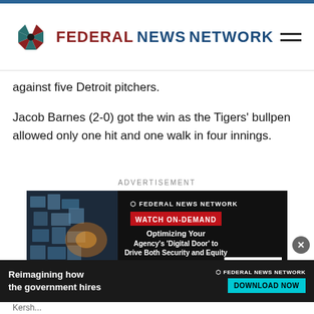FEDERAL NEWS NETWORK
against five Detroit pitchers.
Jacob Barnes (2-0) got the win as the Tigers' bullpen allowed only one hit and one walk in four innings.
ADVERTISEMENT
[Figure (illustration): Federal News Network advertisement banner for LexisNexis Risk Solutions webinar: 'Optimizing Your Agency’s ‘Digital Door’ to Drive Both Security and Equity' with WATCH ON-DEMAND and WATCH NOW buttons]
[Figure (infographic): Bottom advertisement bar: 'Reimagining how the government hires' with Federal News Network logo and DOWNLOAD NOW button]
Kersh...